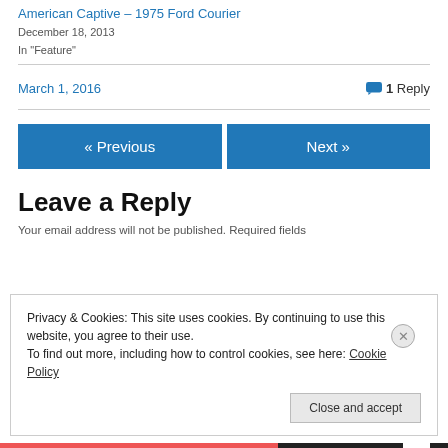American Captive – 1975 Ford Courier
December 18, 2013
In "Feature"
March 1, 2016
1 Reply
« Previous
Next »
Leave a Reply
Your email address will not be published. Required fields
Privacy & Cookies: This site uses cookies. By continuing to use this website, you agree to their use.
To find out more, including how to control cookies, see here: Cookie Policy
Close and accept